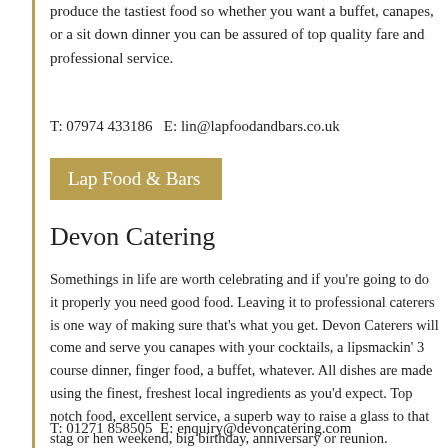produce the tastiest food so whether you want a buffet, canapes, or a sit down dinner you can be assured of top quality fare and professional service.
T: 07974 433186   E: lin@lapfoodandbars.co.uk
Lap Food & Bars
Devon Catering
Somethings in life are worth celebrating and if you're going to do it properly you need good food. Leaving it to professional caterers is one way of making sure that's what you get. Devon Caterers will come and serve you canapes with your cocktails, a lipsmackin' 3 course dinner, finger food, a buffet, whatever. All dishes are made using the finest, freshest local ingredients as you'd expect. Top notch food, excellent service, a superb way to raise a glass to that stag or hen weekend, big birthday, anniversary or reunion.
T: 01271 858505  E: enquiry@devoncatering.com